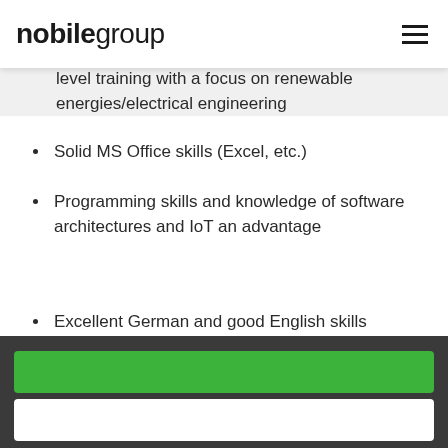nobilegroup
level training with a focus on renewable energies/electrical engineering
Solid MS Office skills (Excel, etc.)
Programming skills and knowledge of software architectures and IoT an advantage
Excellent German and good English skills
Affinity for renewable energies and joy in creative solutions